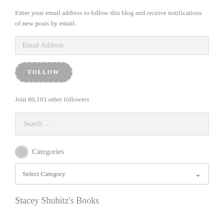Enter your email address to follow this blog and receive notifications of new posts by email.
Email Address
FOLLOW
Join 89,193 other followers
Search …
Categories
Select Category
Stacey Shubitz's Books